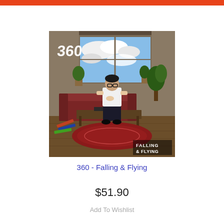[Figure (photo): Album cover for '360 - Falling & Flying'. Shows a young man in a white t-shirt and dark jeans sitting on a couch/table in a cluttered apartment room. Large windows show blue sky and clouds. Plants visible. The number '360' is printed in white in the top left, and 'FALLING & FLYING' is in the bottom right corner.]
360 - Falling & Flying
$51.90
Add To Wishlist